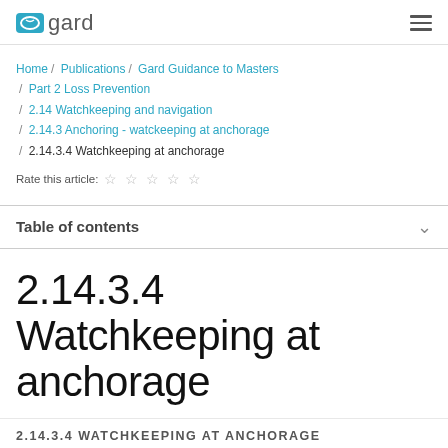gard
Home / Publications / Gard Guidance to Masters / Part 2 Loss Prevention / 2.14 Watchkeeping and navigation / 2.14.3 Anchoring - watckeeping at anchorage / 2.14.3.4 Watchkeeping at anchorage
Rate this article: ☆ ☆ ☆ ☆ ☆
Table of contents
2.14.3.4 Watchkeeping at anchorage
2.14.3.4 WATCHKEEPING AT ANCHORAGE